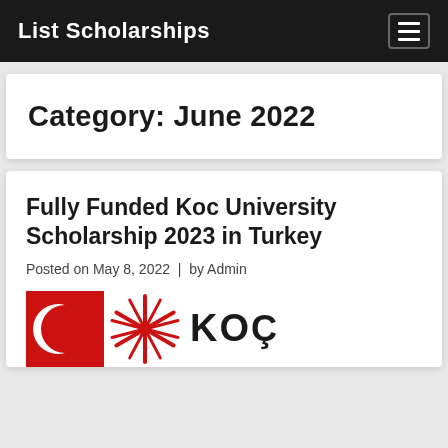List Scholarships
Category: June 2022
Fully Funded Koc University Scholarship 2023 in Turkey
Posted on May 8, 2022  |  by Admin
[Figure (logo): Koc University logo with red background and radial emblem, plus KOC text]